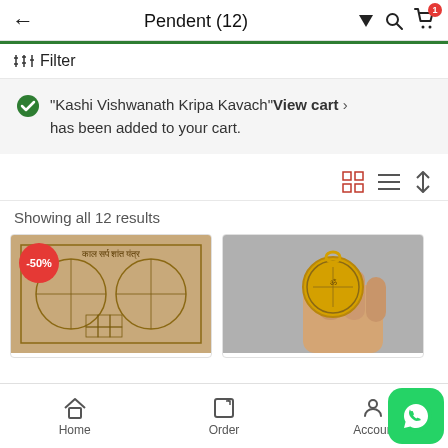Pendent (12)
Filter
"Kashi Vishwanath Kripa Kavach" View cart > has been added to your cart.
Showing all 12 results
[Figure (photo): Product image with -50% badge showing a yantra]
[Figure (photo): Product image showing a gold pendant held by fingers]
Home   Order   Account